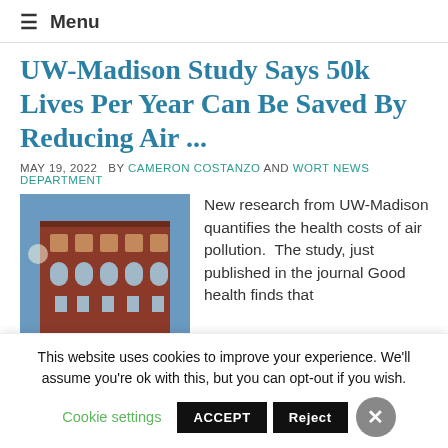≡ Menu
UW-Madison Study Says 50k Lives Per Year Can Be Saved By Reducing Air ...
MAY 19, 2022   BY CAMERON COSTANZO AND WORT NEWS DEPARTMENT
[Figure (photo): Photo of a red brick building (likely a UW-Madison building) against a blue sky]
New research from UW-Madison quantifies the health costs of air pollution.  The study, just published in the journal Good health finds that
This website uses cookies to improve your experience. We'll assume you're ok with this, but you can opt-out if you wish.
Cookie settings   ACCEPT   Reject